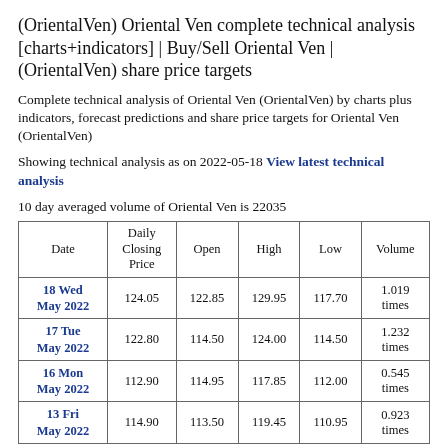(OrientalVen) Oriental Ven complete technical analysis [charts+indicators] | Buy/Sell Oriental Ven | (OrientalVen) share price targets
Complete technical analysis of Oriental Ven (OrientalVen) by charts plus indicators, forecast predictions and share price targets for Oriental Ven (OrientalVen)
Showing technical analysis as on 2022-05-18 View latest technical analysis
10 day averaged volume of Oriental Ven is 22035
| Date | Daily Closing Price | Open | High | Low | Volume |
| --- | --- | --- | --- | --- | --- |
| 18 Wed May 2022 | 124.05 | 122.85 | 129.95 | 117.70 | 1.019 times |
| 17 Tue May 2022 | 122.80 | 114.50 | 124.00 | 114.50 | 1.232 times |
| 16 Mon May 2022 | 112.90 | 114.95 | 117.85 | 112.00 | 0.545 times |
| 13 Fri May 2022 | 114.90 | 113.50 | 119.45 | 110.95 | 0.923 times |